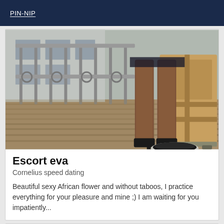PIN-NIP
[Figure (photo): Photo showing legs of a woman in heels standing on a wooden deck next to metal railings and a wooden crate, with a small black and silver object at her feet]
Escort eva
Cornelius speed dating
Beautiful sexy African flower and without taboos, I practice everything for your pleasure and mine ;) I am waiting for you impatiently...